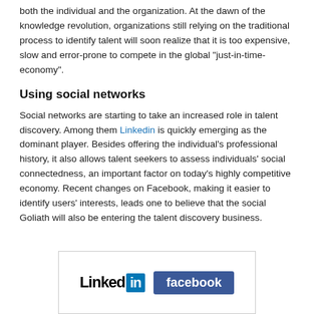both the individual and the organization. At the dawn of the knowledge revolution, organizations still relying on the traditional process to identify talent will soon realize that it is too expensive, slow and error-prone to compete in the global “just-in-time-economy”.
Using social networks
Social networks are starting to take an increased role in talent discovery. Among them Linkedin is quickly emerging as the dominant player. Besides offering the individual's professional history, it also allows talent seekers to assess individuals' social connectedness, an important factor on today's highly competitive economy. Recent changes on Facebook, making it easier to identify users' interests, leads one to believe that the social Goliath will also be entering the talent discovery business.
[Figure (logo): LinkedIn and Facebook logos side by side]